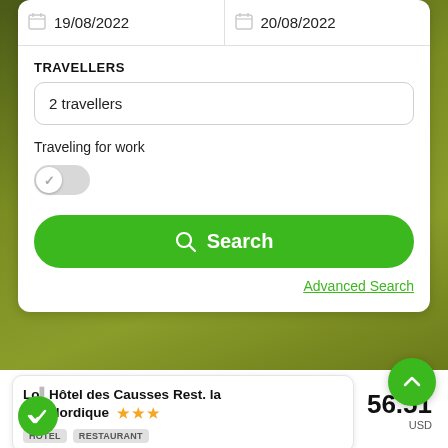[Figure (screenshot): Mobile travel booking UI screenshot showing date picker with 19/08/2022 and 20/08/2022, travellers input (2 travellers), traveling for work toggle (off), green Search button, Advanced Search link, and hotel card for Le.. Hôtel des Causses Rest. la ..ur Nordique (3 stars) priced from 56.51 USD]
19/08/2022
20/08/2022
TRAVELLERS
2 travellers
Traveling for work
Search
Advanced Search
Lo.. Hôtel des Causses Rest. la ..ur Nordique
From 56.51 USD
HÔTEL
RESTAURANT